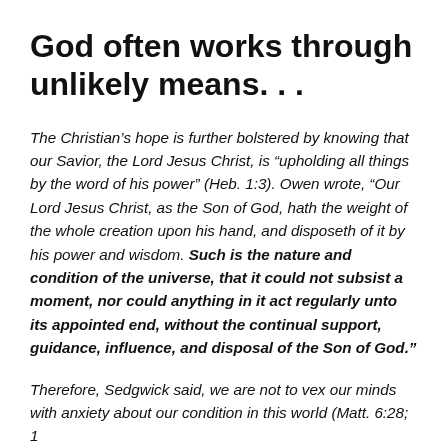God often works through unlikely means. . .
The Christian’s hope is further bolstered by knowing that our Savior, the Lord Jesus Christ, is “upholding all things by the word of his power” (Heb. 1:3). Owen wrote, “Our Lord Jesus Christ, as the Son of God, hath the weight of the whole creation upon his hand, and disposeth of it by his power and wisdom. Such is the nature and condition of the universe, that it could not subsist a moment, nor could anything in it act regularly unto its appointed end, without the continual support, guidance, influence, and disposal of the Son of God.”
Therefore, Sedgwick said, we are not to vex our minds with anxiety about our condition in this world (Matt. 6:28; 1